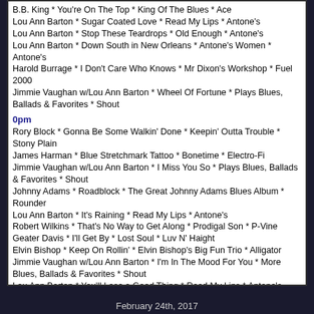B.B. King * You're On The Top * King Of The Blues * Ace
Lou Ann Barton * Sugar Coated Love * Read My Lips * Antone's
Lou Ann Barton * Stop These Teardrops * Old Enough * Antone's
Lou Ann Barton * Down South in New Orleans * Antone's Women * Antone's
Harold Burrage * I Don't Care Who Knows * Mr Dixon's Workshop * Fuel 2000
Jimmie Vaughan w/Lou Ann Barton * Wheel Of Fortune * Plays Blues, Ballads & Favorites * Shout
0pm
Rory Block * Gonna Be Some Walkin' Done * Keepin' Outta Trouble * Stony Plain
James Harman * Blue Stretchmark Tattoo * Bonetime * Electro-Fi
Jimmie Vaughan w/Lou Ann Barton * I Miss You So * Plays Blues, Ballads & Favorites * Shout
Johnny Adams * Roadblock * The Great Johnny Adams Blues Album * Rounder
Lou Ann Barton * It's Raining * Read My Lips * Antone's
Robert Wilkins * That's No Way to Get Along * Prodigal Son * P-Vine
Geater Davis * I'll Get By * Lost Soul * Luv N' Haight
Elvin Bishop * Keep On Rollin' * Elvin Bishop's Big Fun Trio * Alligator
Jimmie Vaughan w/Lou Ann Barton * I'm In The Mood For You * More Blues, Ballads & Favorites * Shout
Lou Ann Barton * You'll Lose a Good Thing * Read My Lips * Antone's
Omar Dykes/Jimmie Vaughan w/Lou Ann Barton * Good Lover * On The Jimmy Reed Hiway * Ruf
Nathan James * Look Before I Leap * Hear Me Calling * Sacred Cat
February 24th, 2017